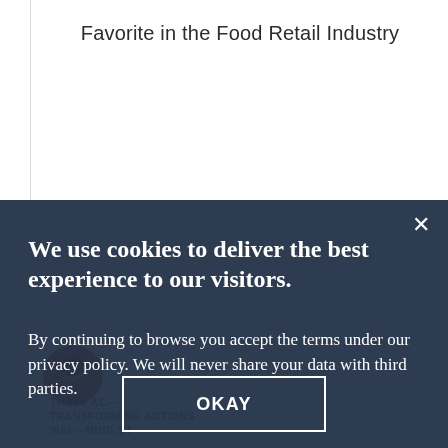Favorite in the Food Retail Industry
[Figure (photo): Person avatar / profile photo thumbnail at bottom left section]
We use cookies to deliver the best experience to our visitors. By continuing to browse you accept the terms under our privacy policy. We will never share your data with third parties.
OKAY